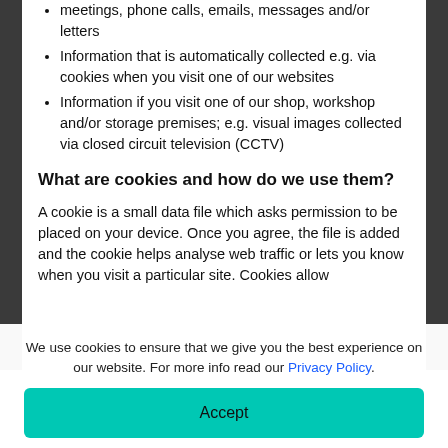meetings, phone calls, emails, messages and/or letters
Information that is automatically collected e.g. via cookies when you visit one of our websites
Information if you visit one of our shop, workshop and/or storage premises; e.g. visual images collected via closed circuit television (CCTV)
What are cookies and how do we use them?
A cookie is a small data file which asks permission to be placed on your device. Once you agree, the file is added and the cookie helps analyse web traffic or lets you know when you visit a particular site. Cookies allow
We use cookies to ensure that we give you the best experience on our website. For more info read our Privacy Policy.
Accept